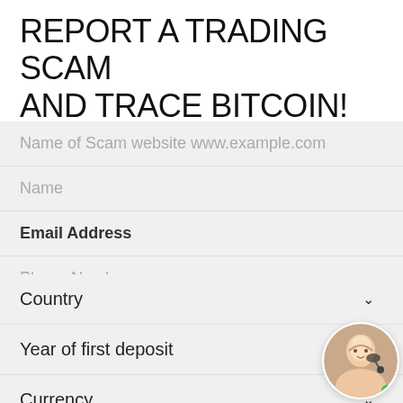REPORT A TRADING SCAM AND TRACE BITCOIN!
Name of Scam website www.example.com
Name
Email Address
Phone Number
Country
Year of first deposit
Currency
Approximate Loss Amount
Method of deposit